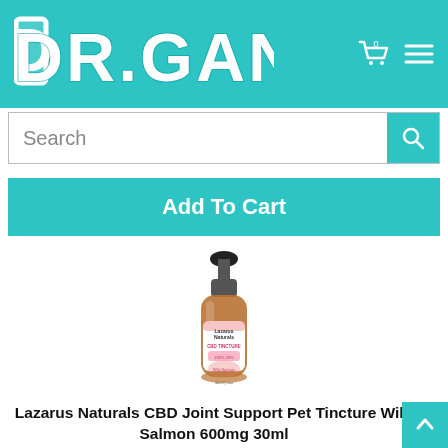DR.GANJA
Search
Add To Cart
[Figure (photo): Amber glass dropper bottle of Lazarus Naturals CBD Joint Support Pet Tincture Wild Salmon 600mg 30ml with pink label and black dropper top]
Lazarus Naturals CBD Joint Support Pet Tincture Wild Salmon 600mg 30ml